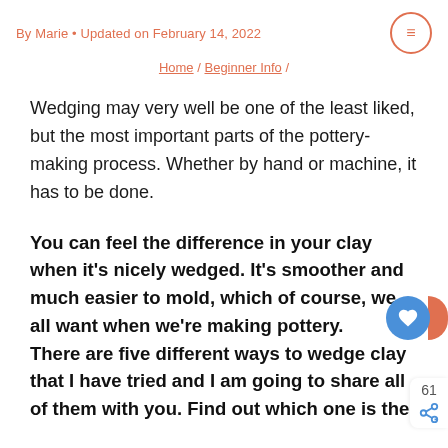By Marie • Updated on February 14, 2022
Home / Beginner Info /
Wedging may very well be one of the least liked, but the most important parts of the pottery-making process. Whether by hand or machine, it has to be done.
You can feel the difference in your clay when it's nicely wedged. It's smoother and much easier to mold, which of course, we all want when we're making pottery. There are five different ways to wedge clay that I have tried and I am going to share all of them with you. Find out which one is the